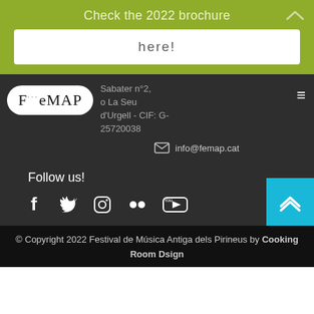Check the 2022 brochure
here!
[Figure (logo): FëMAP logo — white pill-shaped background with serif text]
Sabater n°2, o La Seu d'Urgell - CIF: G-25720038
info@femap.cat
Follow us!
[Figure (infographic): Social media icons: Facebook, Twitter, Instagram, Flickr, YouTube]
© Copyright 2022 Festival de Música Antiga dels Pirineus by Cooking Room Dsign